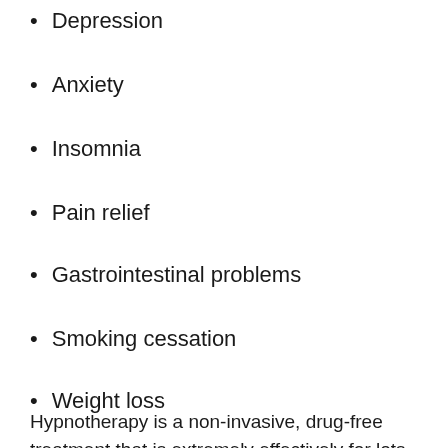Depression
Anxiety
Insomnia
Pain relief
Gastrointestinal problems
Smoking cessation
Weight loss
Hypnotherapy is a non-invasive, drug-free treatment that is extremely effectively for lots